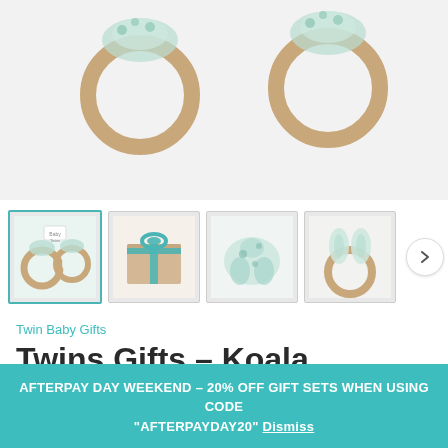[Figure (photo): Main product photo: two wooden teething rings with green koala-print fabric tied around them, on a white background]
[Figure (photo): Thumbnail 1 (selected): Two wooden teething rings with koala fabric and a gift tag saying Baby Twins]
[Figure (photo): Thumbnail 2: Kraft gift box tied with a teal ribbon bow]
[Figure (photo): Thumbnail 3: Green-print fabric item (bib or cloth) on white background]
[Figure (photo): Thumbnail 4: Wooden teething ring with bunny-ear fabric top]
Twin Baby Gifts
Twins Gifts – Koala
$78.95
AFTERPAY DAY WEEKEND – 20% OFF GIFT SETS WHEN USING CODE "AFTERPAYDAY20" Dismiss